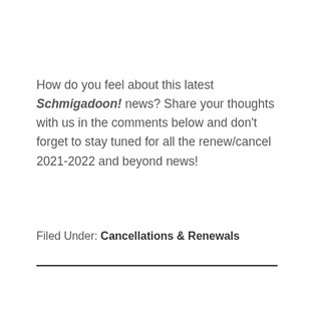How do you feel about this latest Schmigadoon! news? Share your thoughts with us in the comments below and don't forget to stay tuned for all the renew/cancel 2021-2022 and beyond news!
Filed Under: Cancellations & Renewals